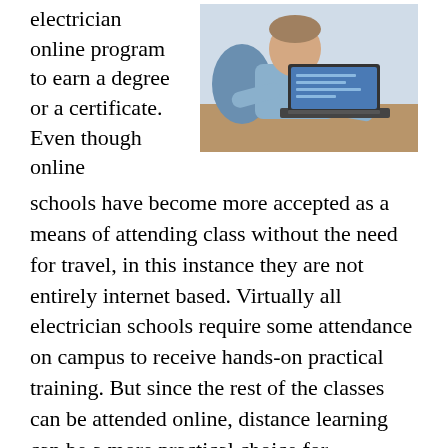electrician online program to earn a degree or a certificate. Even though online schools have become more accepted as a means of attending class without the need for travel, in this instance they are not entirely internet based. Virtually all electrician schools require some attendance on campus to receive hands-on practical training. But since the rest of the classes can be attended online, distance learning can be a more practical choice for individuals that have limited time for schooling. And as a bonus many online schools have a cheaper tuition cost compared to their traditional alternatives. Driving costs from Fort Gaines GA are also lessened and some of the study materials can be accessed on line also. All of these advantages can make online electrician vocational schools more affordable and accessible. And a number are fully accredited, which we will deal with in
[Figure (photo): A middle-aged man in a light blue shirt sitting at a desk working on a laptop computer]